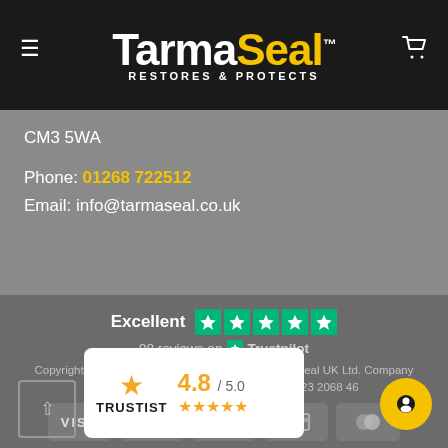[Figure (logo): TarmaSeal logo with yellow and white text on black background, tagline RESTORES & PROTECTS]
CM3 5WA
Phone: 01268 722512
Email: info@tarmaseal.co.uk
[Figure (infographic): Excellent 5-star Trustpilot rating with 98 reviews, payment icons (VISA, PayPal, stripe, credit card, Mastercard), Trustist widget showing 4.8/5.0 rating]
Copyright 2022 © TarmaSeal™ is a brand of SmartSeal UK Ltd. Company Registration No. 6505228 - VAT No. GB 923 2068 46